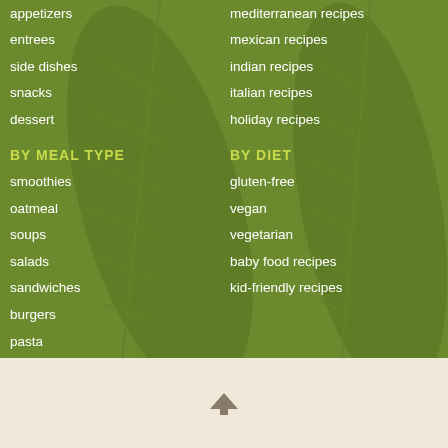appetizers
entrees
side dishes
snacks
dessert
BY MEAL TYPE
smoothies
oatmeal
soups
salads
sandwiches
burgers
pasta
pizza
mediterranean recipes
mexican recipes
indian recipes
italian recipes
holiday recipes
BY DIET
gluten-free
vegan
vegetarian
baby food recipes
kid-friendly recipes